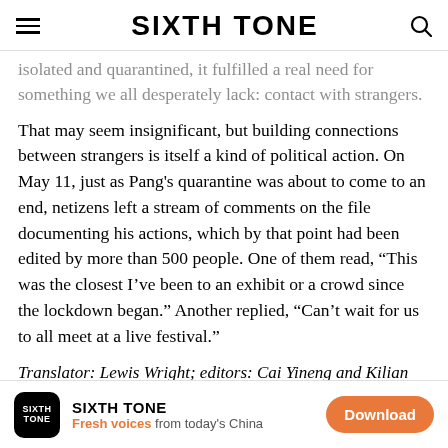SIXTH TONE
isolated and quarantined, it fulfilled a real need for something we all desperately lack: contact with strangers.
That may seem insignificant, but building connections between strangers is itself a kind of political action. On May 11, just as Pang's quarantine was about to come to an end, netizens left a stream of comments on the file documenting his actions, which by that point had been edited by more than 500 people. One of them read, “This was the closest I’ve been to an exhibit or a crowd since the lockdown began.” Another replied, “Can’t wait for us to all meet at a live festival.”
Translator: Lewis Wright; editors: Cai Yineng and Kilian
SIXTH TONE — Fresh voices from today's China — Download